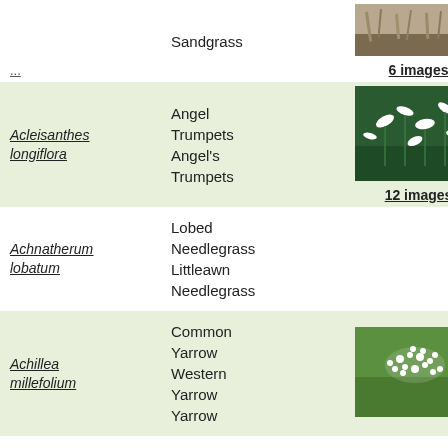Sandgrass
[Figure (photo): Photo of sandgrass plant, brown/tan dried grass]
6 images
Acleisanthes longiflora
Angel Trumpets
Angel's Trumpets
[Figure (photo): Photo of white angel trumpet flowers among green grass]
12 images
Achnatherum lobatum
Lobed Needlegrass
Littleawn Needlegrass
Achillea millefolium
Common Yarrow
Western Yarrow
Yarrow
[Figure (photo): Photo of white yarrow flowers on green grass lawn]